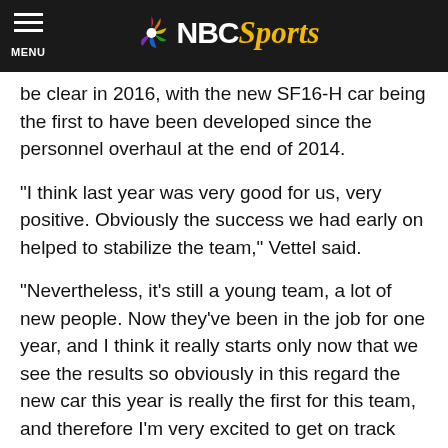NBC Sports
be clear in 2016, with the new SF16-H car being the first to have been developed since the personnel overhaul at the end of 2014.
“I think last year was very good for us, very positive. Obviously the success we had early on helped to stabilize the team,” Vettel said.
“Nevertheless, it’s still a young team, a lot of new people. Now they've been in the job for one year, and I think it really starts only now that we see the results so obviously in this regard the new car this year is really the first for this team, and therefore I’m very excited to get on track and see how it feels.
“Obviously from the outside you see that the car looks lsihgly different. There’s a bit of a new car design going on which I like a lot, it looks very nice. My helmet suits the...